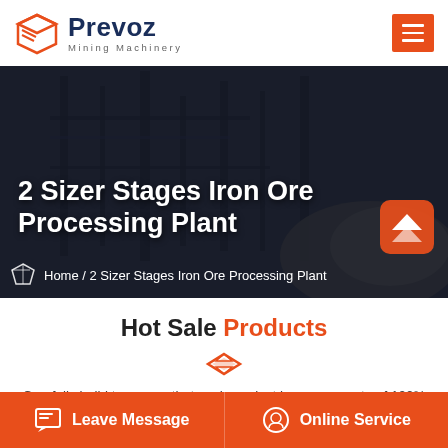[Figure (logo): Prevoz Mining Machinery logo with orange 3D box icon and company name]
[Figure (photo): Mining plant/machinery industrial photo used as hero banner background, dark overlay with title text]
2 Sizer Stages Iron Ore Processing Plant
Home / 2 Sizer Stages Iron Ore Processing Plant
Hot Sale Products
Carefully build to ensure that each product has a pass rate of 100%
Leave Message
Online Service